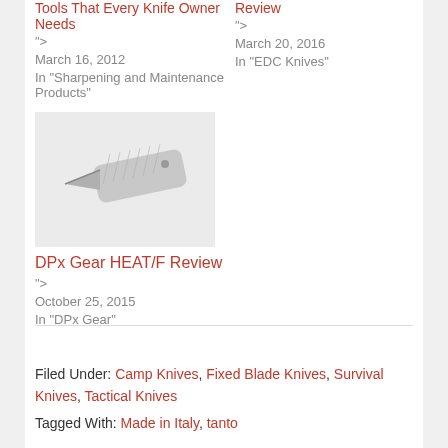Tools That Every Knife Owner Needs
">
March 16, 2012
In "Sharpening and Maintenance Products"
Review
">
March 20, 2016
In "EDC Knives"
[Figure (photo): A small folding knife with a grey textured handle and drop-point blade, photographed on a white background]
DPx Gear HEAT/F Review
">
October 25, 2015
In "DPx Gear"
Filed Under: Camp Knives, Fixed Blade Knives, Survival Knives, Tactical Knives
Tagged With: Made in Italy, tanto